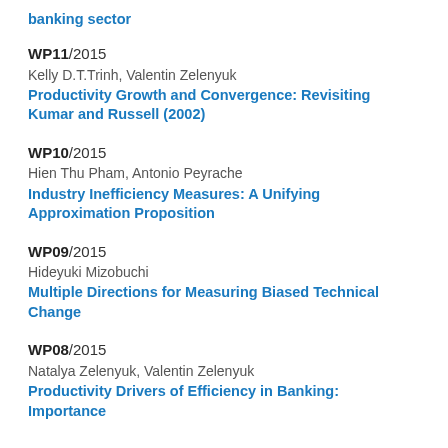banking sector
WP11/2015
Kelly D.T.Trinh, Valentin Zelenyuk
Productivity Growth and Convergence: Revisiting Kumar and Russell (2002)
WP10/2015
Hien Thu Pham, Antonio Peyrache
Industry Inefficiency Measures: A Unifying Approximation Proposition
WP09/2015
Hideyuki Mizobuchi
Multiple Directions for Measuring Biased Technical Change
WP08/2015
Natalya Zelenyuk, Valentin Zelenyuk
Productivity Drivers of Efficiency in Banking: Importance